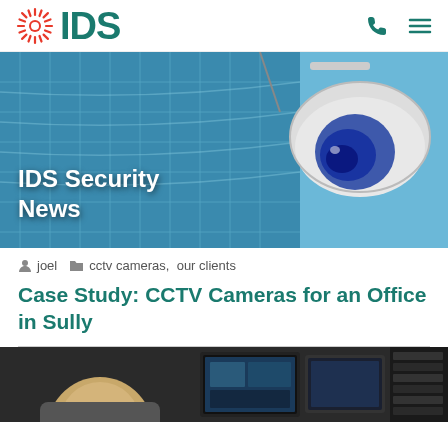IDS
[Figure (photo): Hero banner with glass office building and dome CCTV security camera against blue sky, with text 'IDS Security News']
IDS Security News
joel   cctv cameras,  our clients
Case Study: CCTV Cameras for an Office in Sully
[Figure (photo): Photo showing a person (back of head) looking at security monitor screens]